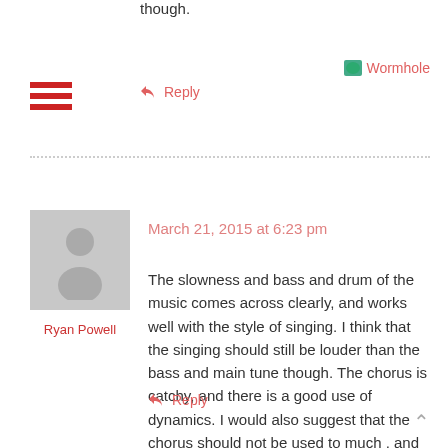though.
↩ Reply
Wormhole
[Figure (other): Hamburger menu icon with three red horizontal bars]
[Figure (photo): User avatar placeholder silhouette in gray square]
Ryan Powell
March 21, 2015 at 6:23 pm
The slowness and bass and drum of the music comes across clearly, and works well with the style of singing. I think that the singing should still be louder than the bass and main tune though. The chorus is catchy, and there is a good use of dynamics. I would also suggest that the chorus should not be used to much , and that the shouting part should be dialed down, as it disrupts the flow of the music.
↩ Reply